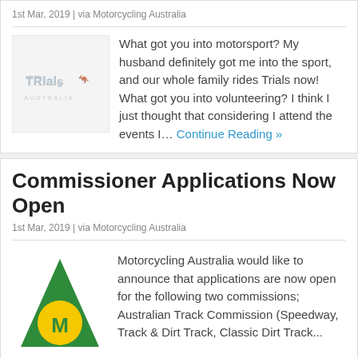1st Mar, 2019 | via Motorcycling Australia
What got you into motorsport? My husband definitely got me into the sport, and our whole family rides Trials now! What got you into volunteering? I think I just thought that considering I attend the events I... Continue Reading »
Commissioner Applications Now Open
1st Mar, 2019 | via Motorcycling Australia
Motorcycling Australia would like to announce that applications are now open for the following two commissions; Australian Track Commission (Speedway, Track & Dirt Track, Classic Dirt Track... Continue Reading »
They're Here! 2019 MoMs released